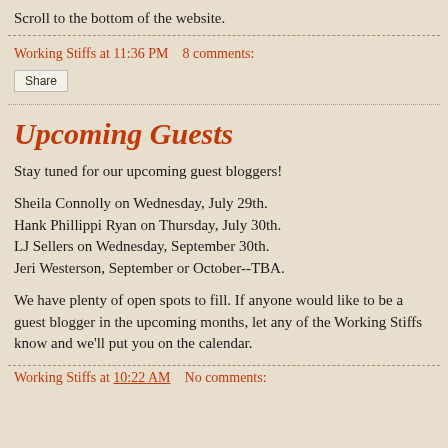Scroll to the bottom of the website.
Working Stiffs at 11:36 PM   8 comments:
Share
Upcoming Guests
Stay tuned for our upcoming guest bloggers!
Sheila Connolly on Wednesday, July 29th.
Hank Phillippi Ryan on Thursday, July 30th.
LJ Sellers on Wednesday, September 30th.
Jeri Westerson, September or October--TBA.
We have plenty of open spots to fill. If anyone would like to be a guest blogger in the upcoming months, let any of the Working Stiffs know and we'll put you on the calendar.
Working Stiffs at 10:22 AM   No comments: